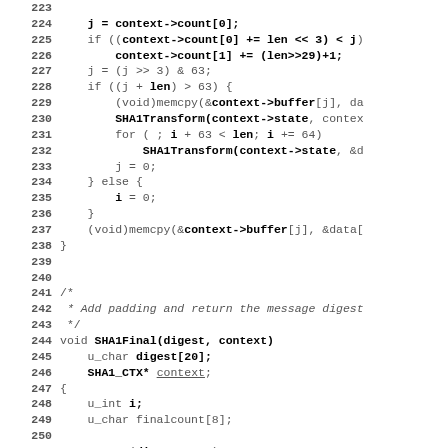[Figure (screenshot): Source code listing of SHA1 implementation in C, showing lines 223-252. Code includes SHA1Update function body and beginning of SHA1Final function with variable declarations and assert statements.]